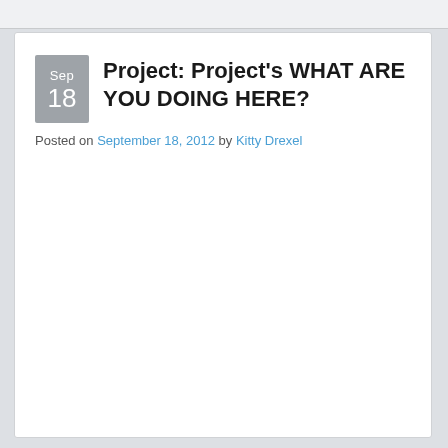Project: Project's WHAT ARE YOU DOING HERE?
Posted on September 18, 2012 by Kitty Drexel